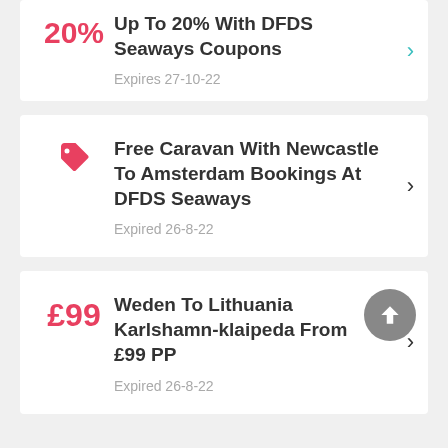Up To 20% With DFDS Seaways Coupons — Expires 27-10-22
Free Caravan With Newcastle To Amsterdam Bookings At DFDS Seaways — Expired 26-8-22
Weden To Lithuania Karlshamn-klaipeda From £99 PP — Expired 26-8-22